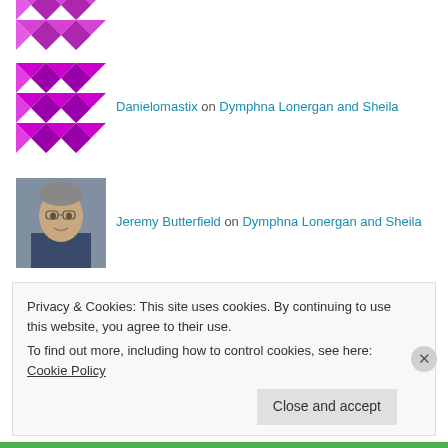Danielomastix on Dymphna Lonergan and Sheila
Jeremy Butterfield on Dymphna Lonergan and Sheila
Danielomastix on Dymphna Lonergan and Sheila
Archives
Privacy & Cookies: This site uses cookies. By continuing to use this website, you agree to their use.
To find out more, including how to control cookies, see here: Cookie Policy
Close and accept